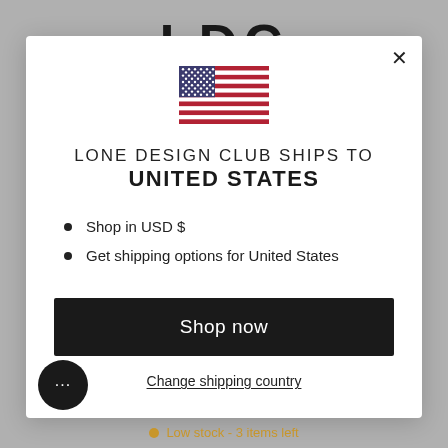[Figure (screenshot): Modal popup on an e-commerce website (Lone Design Club) showing a US flag, shipping destination United States, bullet points for USD and shipping options, a Shop now button, and a Change shipping country link.]
LONE DESIGN CLUB SHIPS TO
UNITED STATES
Shop in USD $
Get shipping options for United States
Shop now
Change shipping country
Low stock - 3 items left